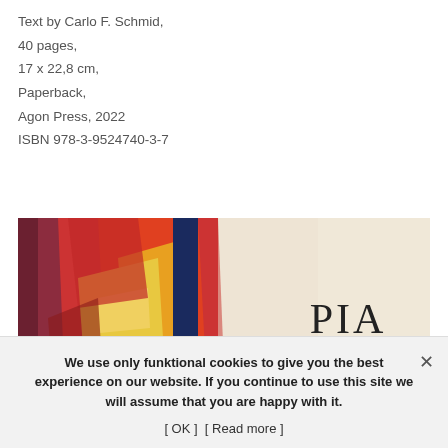Text by Carlo F. Schmid,
40 pages,
17 x 22,8 cm,
Paperback,
Agon Press, 2022
ISBN 978-3-9524740-3-7
[Figure (illustration): Book cover partial image showing colorful abstract/figurative artwork in red, yellow, and dark blue tones with text 'PIA FRIES' in large serif letters on the right side]
We use only funktional cookies to give you the best experience on our website. If you continue to use this site we will assume that you are happy with it.
[ OK ]  [ Read more ]